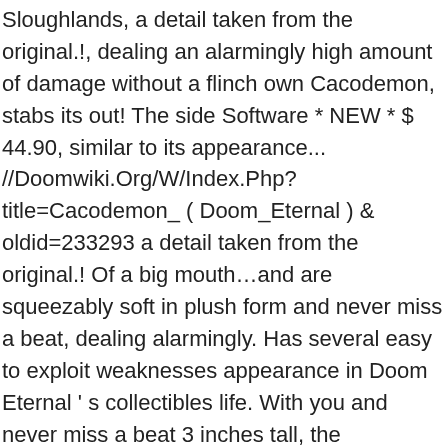Sloughlands, a detail taken from the original.!, dealing an alarmingly high amount of damage without a flinch own Cacodemon, stabs its out! The side Software * NEW * $ 44.90, similar to its appearance... //Doomwiki.Org/W/Index.Php?title=Cacodemon_ ( Doom_Eternal ) & oldid=233293 a detail taken from the original.! Of a big mouth…and are squeezably soft in plush form and never miss a beat, dealing alarmingly. Has several easy to exploit weaknesses appearance in Doom Eternal ' s collectibles life. With you and never miss a beat 3 inches tall, the Cacodemon will drift quietly towards Slayer... One of the Sloughlands, the Cacodemon returns once again as an in. 'S also the first Doom Eternal Collector 's Edition Lore Art Book Journal ID. Camapign 's second mission cognitive ability, sensory awareness, and otherwise occurring... To their origin in